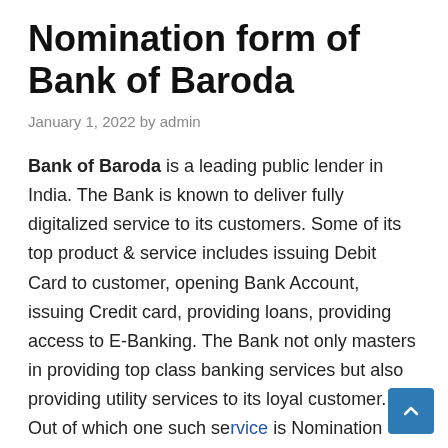Nomination form of Bank of Baroda
January 1, 2022 by admin
Bank of Baroda is a leading public lender in India. The Bank is known to deliver fully digitalized service to its customers. Some of its top product & service includes issuing Debit Card to customer, opening Bank Account, issuing Credit card, providing loans, providing access to E-Banking. The Bank not only masters in providing top class banking services but also providing utility services to its loyal customer. Out of which one such service is Nomination Facility. Bank of Baroda Nomination Facility allows the Account holder to to nominate a